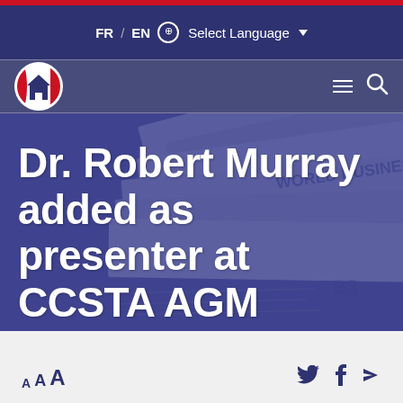FR / EN Select Language
[Figure (screenshot): Website navigation bar with CCSTA logo circle (Canadian flag and house emblem), hamburger menu icon, and search icon on dark blue background]
[Figure (photo): Background photo of stacked newspaper pages with dark blue overlay, partially visible text 'WORLD BUSINESS']
Dr. Robert Murray added as presenter at CCSTA AGM
A A A (font size controls) and social sharing icons (Twitter, Facebook, forward/share)